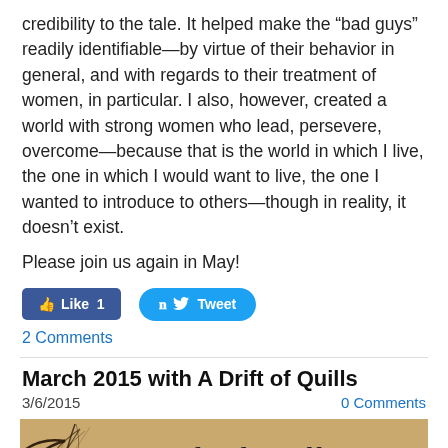credibility to the tale. It helped make the “bad guys” readily identifiable—by virtue of their behavior in general, and with regards to their treatment of women, in particular. I also, however, created a world with strong women who lead, persevere, overcome—because that is the world in which I live, the one in which I would want to live, the one I wanted to introduce to others—though in reality, it doesn’t exist.
Please join us again in May!
[Figure (screenshot): Facebook Like button showing count of 1 and Twitter Tweet button]
2 Comments
March 2015 with A Drift of Quills
3/6/2015
0 Comments
[Figure (illustration): Book cover image with tan/brown background showing feather/quill sketch and the text 'A Drift of Quills' in serif italic font]